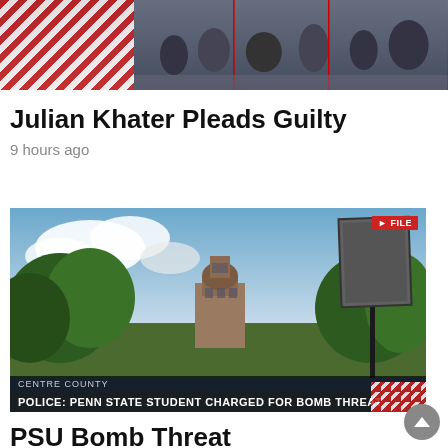[Figure (photo): News footage still showing crowd scene with American flag on left and people in motion, with red vertical lines overlaid]
Julian Khater Pleads Guilty
9 hours ago
[Figure (screenshot): TV news screenshot showing Penn State campus with building tower and historical marker sign. FILE badge in upper right. Lower bar reads: CENTRE COUNTY / POLICE: PENN STATE STUDENT CHARGED FOR BOMB THREAT]
PSU Bomb Threat